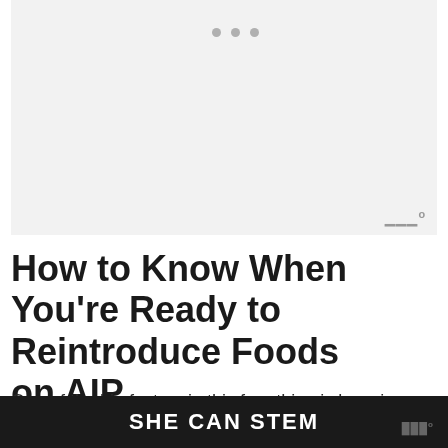[Figure (photo): Light gray image placeholder area at the top of the page with three small gray dots indicating a carousel/slideshow]
How to Know When You're Ready to Reintroduce Foods on AIP
One of the big factors in this fear thing is knowing whether you're actually ready to
SHE CAN STEM